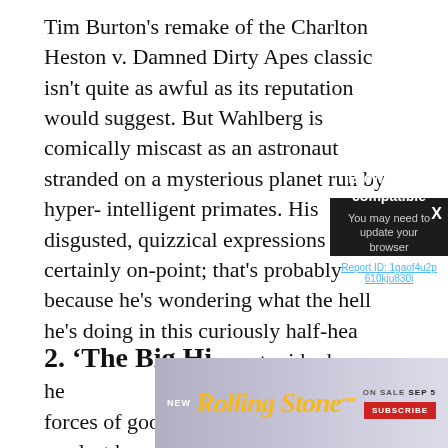Tim Burton's remake of the Charlton Heston v. Damned Dirty Apes classic isn't quite as awful as its reputation would suggest. But Wahlberg is comically miscast as an astronaut stranded on a mysterious planet run by hyper-intelligent primates. His disgusted, quizzical expressions are certainly on-point; that's probably because he's wondering what the hell he's doing in this curiously half-hea... stupid when our he... forces of good in t... If he's our last hop...
2. ‘The Big Hi...
[Figure (screenshot): Browser not compatible modal dialog with dark background. Shows title 'Browser not compatible', subtitle 'You may need to update your browser', a report ID link 'Report ID: 1gaof4u2p610kju830l', and an X close button in the top right corner.]
[Figure (infographic): Rolling Stone magazine advertisement banner. Shows 'NEW' text, Rolling Stone logo in yellow italic script, '.com' superscript, 'ON SALE SEP 5' text, and a red 'SUBSCRIBE' button.]